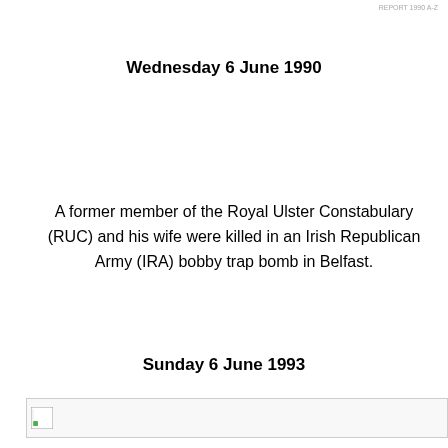REPORT 1990 A-Z
Wednesday 6 June 1990
A former member of the Royal Ulster Constabulary (RUC) and his wife were killed in an Irish Republican Army (IRA) bobby trap bomb in Belfast.
Sunday 6 June 1993
[Figure (photo): Broken/missing image placeholder]